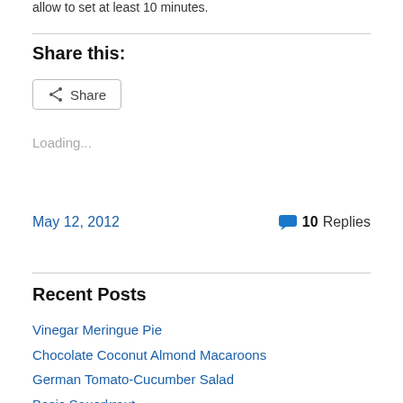allow to set at least 10 minutes.
Share this:
[Figure (other): Share button with share icon]
Loading...
May 12, 2012   💬 10 Replies
Recent Posts
Vinegar Meringue Pie
Chocolate Coconut Almond Macaroons
German Tomato-Cucumber Salad
Basic Sauerkraut